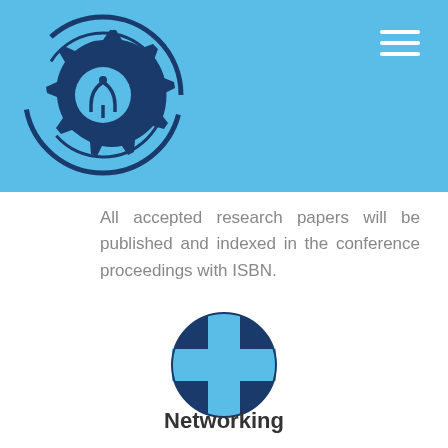[Figure (logo): Conference logo: gear/cog with circuit elements and concentric circles, dark navy blue on light blue background]
[Figure (illustration): Hamburger menu icon — three white horizontal lines in top-right of blue header]
All accepted research papers will be published and indexed in the conference proceedings with ISBN.
[Figure (illustration): Globe/network icon in dark navy blue]
Networking